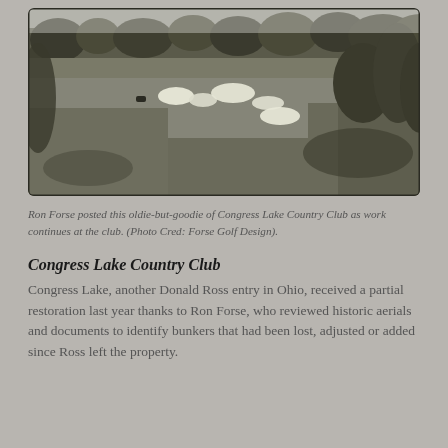[Figure (photo): Black and white aerial/landscape photograph of Congress Lake Country Club golf course showing fairways with sand bunkers, trees lining the course, and open grassy areas.]
Ron Forse posted this oldie-but-goodie of Congress Lake Country Club as work continues at the club. (Photo Cred: Forse Golf Design).
Congress Lake Country Club
Congress Lake, another Donald Ross entry in Ohio, received a partial restoration last year thanks to Ron Forse, who reviewed historic aerials and documents to identify bunkers that had been lost, adjusted or added since Ross left the property.